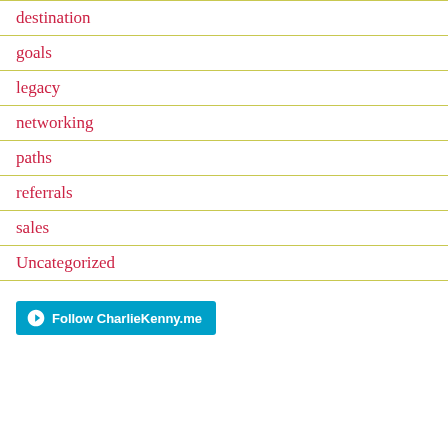destination
goals
legacy
networking
paths
referrals
sales
Uncategorized
Follow CharlieKenny.me